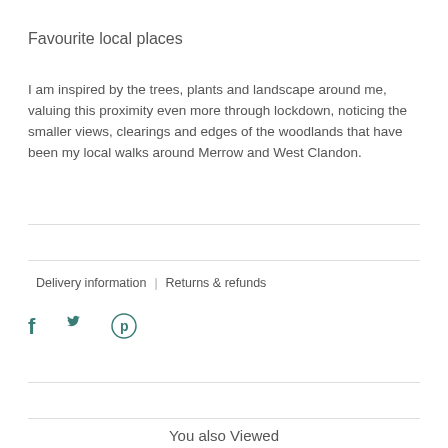Favourite local places
I am inspired by the trees, plants and landscape around me, valuing this proximity even more through lockdown, noticing the smaller views, clearings and edges of the woodlands that have been my local walks around Merrow and West Clandon.
Delivery information  |  Returns & refunds
[Figure (illustration): Social media icons: Facebook (f), Twitter (bird), Pinterest (P)]
You also Viewed